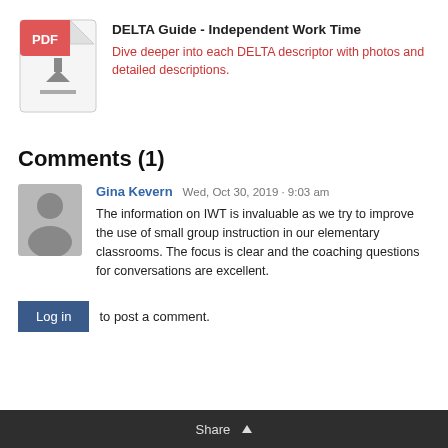[Figure (illustration): PDF file icon with red/coral top and download arrow, with a gray border]
DELTA Guide - Independent Work Time
Dive deeper into each DELTA descriptor with photos and detailed descriptions.
Comments (1)
[Figure (photo): Gray silhouette avatar of a person, representing a user profile picture]
Gina Kevern  Wed, Oct 30, 2019 · 9:03 am
The information on IWT is invaluable as we try to improve the use of small group instruction in our elementary classrooms. The focus is clear and the coaching questions for conversations are excellent.
Log in  to post a comment.
Share